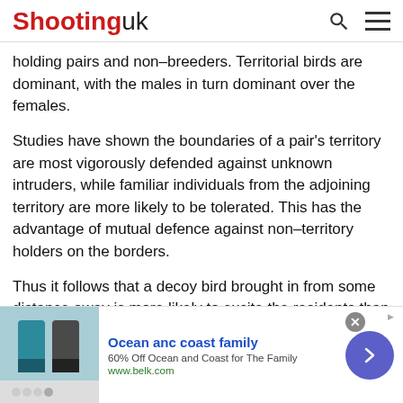Shooting uk
holding pairs and non-breeders. Territorial birds are dominant, with the males in turn dominant over the females.
Studies have shown the boundaries of a pair's territory are most vigorously defended against unknown intruders, while familiar individuals from the adjoining territory are more likely to be tolerated. This has the advantage of mutual defence against non-territory holders on the borders.
Thus it follows that a decoy bird brought in from some distance away is more likely to excite the residents than a local bird. Given a choice of decoy bird I would alway
[Figure (other): Advertisement banner: Ocean anc coast family, 60% Off Ocean and Coast for The Family, www.belk.com, with clothing image and arrow button]